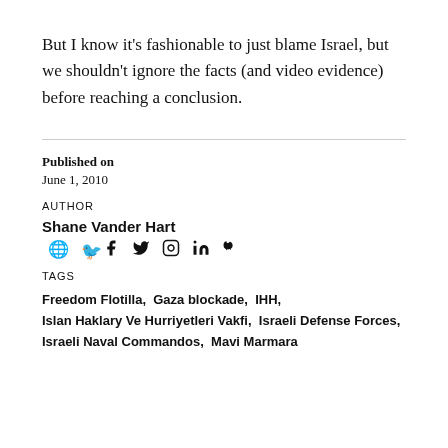But I know it's fashionable to just blame Israel, but we shouldn't ignore the facts (and video evidence) before reaching a conclusion.
Published on
June 1, 2010
AUTHOR
Shane Vander Hart
TAGS
Freedom Flotilla,  Gaza blockade,  IHH,  Islan Haklary Ve Hurriyetleri Vakfi,  Israeli Defense Forces,  Israeli Naval Commandos,  Mavi Marmara